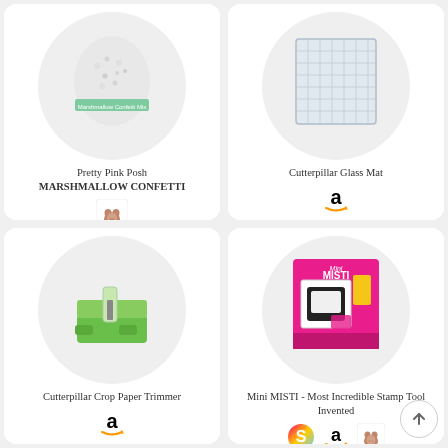[Figure (photo): Pretty Pink Posh Marshmallow Confetti product photo with small white confetti pieces in a bag on a light grey circle background, with a teal/green label strip reading 'Marshmallow Confetti Mix']
Pretty Pink Posh
MARSHMALLOW CONFETTI
[Figure (logo): Pretty Pink Posh small dog logo icon]
[Figure (photo): Cutterpillar Glass Mat product photo on a light grey circle background]
Cutterpillar Glass Mat
[Figure (logo): Amazon 'a' logo icon]
[Figure (photo): Cutterpillar Crop Paper Trimmer product photo showing a green paper trimmer on a light grey circle background]
Cutterpillar Crop Paper Trimmer
[Figure (logo): Amazon 'a' logo icon]
[Figure (photo): Mini MISTI - Most Incredible Stamp Tool Invented product box photo on a light grey circle background, hot pink packaging with product name]
Mini MISTI - Most Incredible Stamp Tool Invented
[Figure (logo): Spellbinders 'S' colorful logo icon, Amazon 'a' logo icon, and Pretty Pink Posh dog logo icon]
[Figure (other): Scroll-to-top circular button with upward arrow]